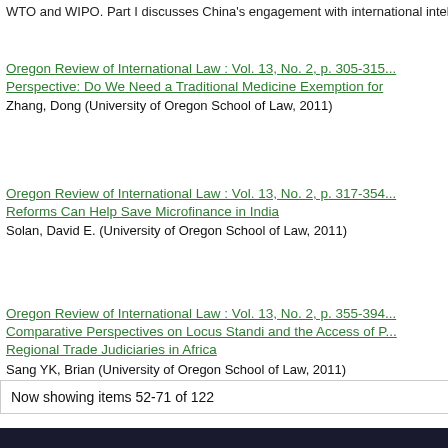WTO and WIPO. Part I discusses China's engagement with international intel...
Oregon Review of International Law : Vol. 13, No. 2, p. 305-315 — Perspective: Do We Need a Traditional Medicine Exemption for
Zhang, Dong (University of Oregon School of Law, 2011)
Oregon Review of International Law : Vol. 13, No. 2, p. 317-354 — Reforms Can Help Save Microfinance in India
Solan, David E. (University of Oregon School of Law, 2011)
Oregon Review of International Law : Vol. 13, No. 2, p. 355-394 — Comparative Perspectives on Locus Standi and the Access of P... Regional Trade Judiciaries in Africa
Sang YK, Brian (University of Oregon School of Law, 2011)
Now showing items 52-71 of 122